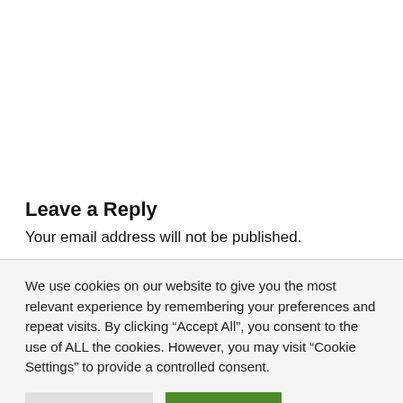Leave a Reply
Your email address will not be published.
We use cookies on our website to give you the most relevant experience by remembering your preferences and repeat visits. By clicking “Accept All”, you consent to the use of ALL the cookies. However, you may visit “Cookie Settings” to provide a controlled consent.
Cookie Settings | Accept All